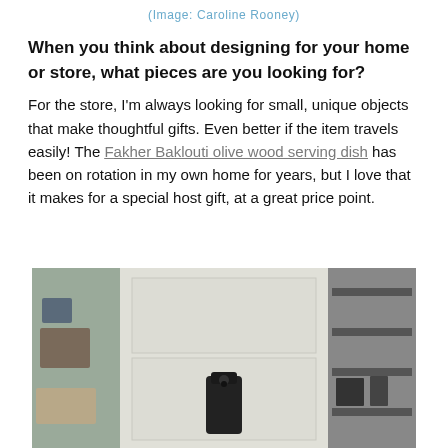(Image: Caroline Rooney)
When you think about designing for your home or store, what pieces are you looking for?
For the store, I'm always looking for small, unique objects that make thoughtful gifts. Even better if the item travels easily! The Fakher Baklouti olive wood serving dish has been on rotation in my own home for years, but I love that it makes for a special host gift, at a great price point.
[Figure (photo): A photo showing a black ceramic or pottery piece in the center foreground against a light background, with shelving or storage visible on the left and right sides.]